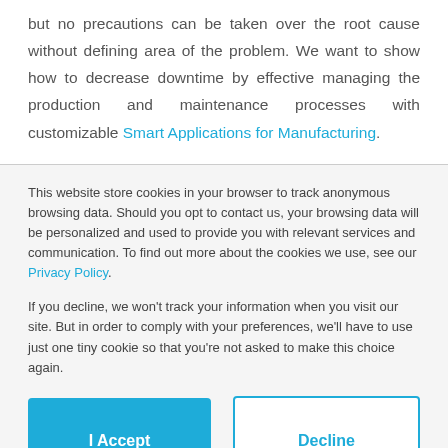but no precautions can be taken over the root cause without defining area of the problem. We want to show how to decrease downtime by effective managing the production and maintenance processes with customizable Smart Applications for Manufacturing.
This website store cookies in your browser to track anonymous browsing data. Should you opt to contact us, your browsing data will be personalized and used to provide you with relevant services and communication. To find out more about the cookies we use, see our Privacy Policy.
If you decline, we won't track your information when you visit our site. But in order to comply with your preferences, we'll have to use just one tiny cookie so that you're not asked to make this choice again.